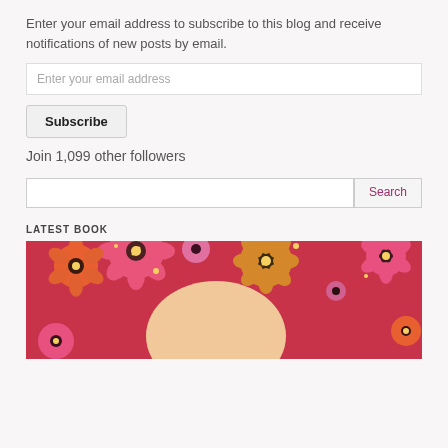Enter your email address to subscribe to this blog and receive notifications of new posts by email.
Enter your email address
Subscribe
Join 1,099 other followers
Search
LATEST BOOK
[Figure (illustration): Colorful retro-style floral illustration with pink, red, orange, and yellow flowers and a face partially visible, used as a book cover image.]